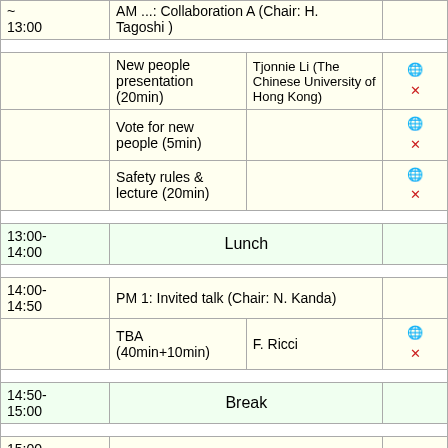| Time | Event | Speaker | Links |
| --- | --- | --- | --- |
| ~13:00 | AM ...: Collaboration A (Chair: H. Tagoshi) |  |  |
|  | New people presentation (20min) | Tjonnie Li (The Chinese University of Hong Kong) | globe x |
|  | Vote for new people (5min) |  | globe x |
|  | Safety rules & lecture (20min) |  | globe x |
| 13:00-14:00 | Lunch |  |  |
| 14:00-14:50 | PM 1: Invited talk (Chair: N. Kanda) |  |  |
|  | TBA (40min+10min) | F. Ricci | globe x |
| 14:50-15:00 | Break |  |  |
| 15:00-16:25 | PM 2: Subsystem IV (Chair: A. Shoda) |  |  |